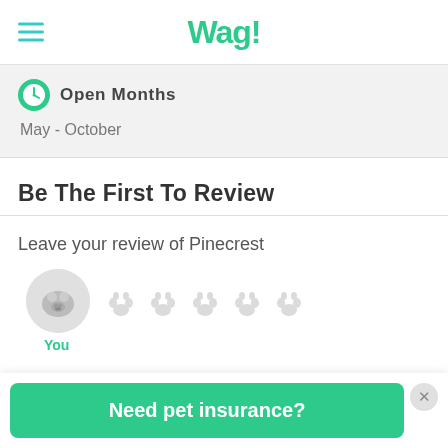Wag!
Open Months
May - October
Be The First To Review
Leave your review of Pinecrest
[Figure (illustration): User avatar circle with dog silhouette icon and five paw print rating icons (unselected/gray)]
You
Need pet insurance?